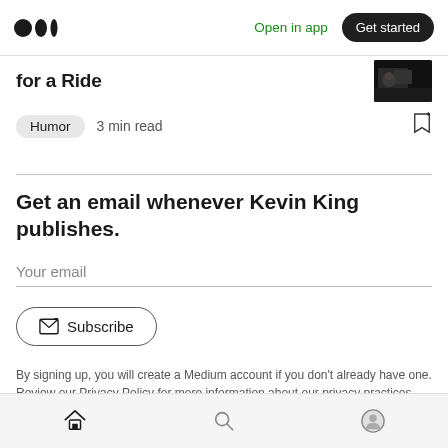Medium logo | Open in app | Get started
for a Ride
[Figure (photo): Small thumbnail image, dark/movie scene]
Humor  3 min read
Get an email whenever Kevin King publishes.
Your email
Subscribe
By signing up, you will create a Medium account if you don't already have one. Review our Privacy Policy for more information about our privacy practices.
Home | Search | Profile